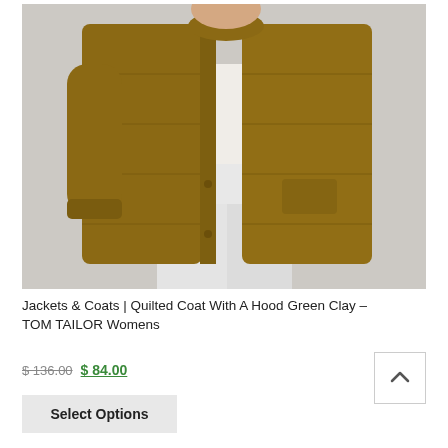[Figure (photo): A woman wearing an open quilted coat in green clay (olive/mustard brown) color over a white turtleneck sweater and wide-leg white trousers. The coat is long, padded/quilted, with visible snap buttons. Background is light grey.]
Jackets & Coats | Quilted Coat With A Hood Green Clay – TOM TAILOR Womens
$ 136.00 $ 84.00
Select Options